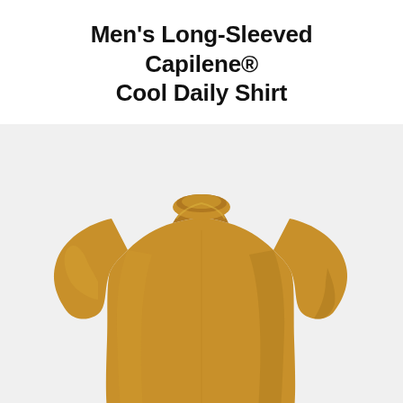Men's Long-Sleeved Capilene® Cool Daily Shirt
[Figure (photo): A headless mannequin wearing a golden-yellow/mustard colored long-sleeved crew neck shirt (Men's Long-Sleeved Capilene Cool Daily Shirt) against a light grey background.]